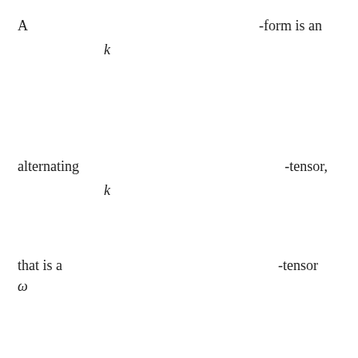A -form is an
k
alternating -tensor,
k
that is a -tensor
ω